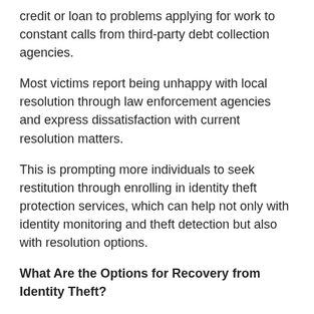credit or loan to problems applying for work to constant calls from third-party debt collection agencies.
Most victims report being unhappy with local resolution through law enforcement agencies and express dissatisfaction with current resolution matters.
This is prompting more individuals to seek restitution through enrolling in identity theft protection services, which can help not only with identity monitoring and theft detection but also with resolution options.
What Are the Options for Recovery from Identity Theft?
One of the biggest challenges identity theft victims can face is the lack of standardization for reporting and recovering from identity theft.